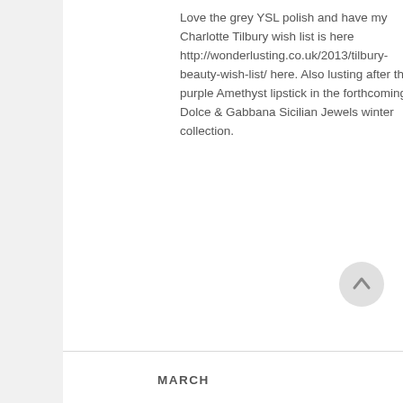Love the grey YSL polish and have my Charlotte Tilbury wish list is here http://wonderlusting.co.uk/2013/tilbury-beauty-wish-list/ here. Also lusting after the purple Amethyst lipstick in the forthcoming Dolce & Gabbana Sicilian Jewels winter collection.
MARCH